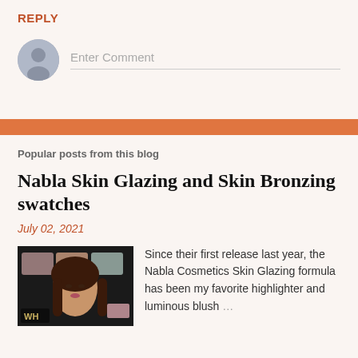REPLY
Enter Comment
Popular posts from this blog
Nabla Skin Glazing and Skin Bronzing swatches
July 02, 2021
[Figure (photo): Thumbnail image of a woman's face with makeup, with 'WH' text overlay in lower left]
Since their first release last year, the Nabla Cosmetics Skin Glazing formula has been my favorite highlighter and luminous blush ...